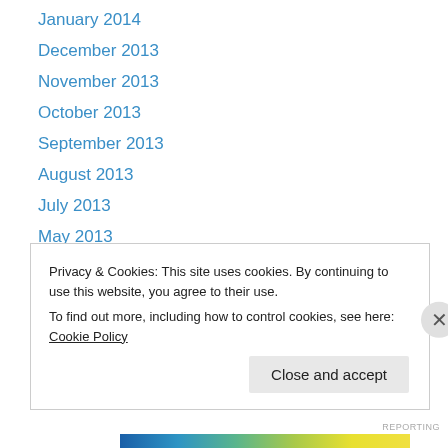January 2014
December 2013
November 2013
October 2013
September 2013
August 2013
July 2013
May 2013
April 2013
March 2013
February 2013
November 2012
July 2012
Privacy & Cookies: This site uses cookies. By continuing to use this website, you agree to their use.
To find out more, including how to control cookies, see here: Cookie Policy
Close and accept